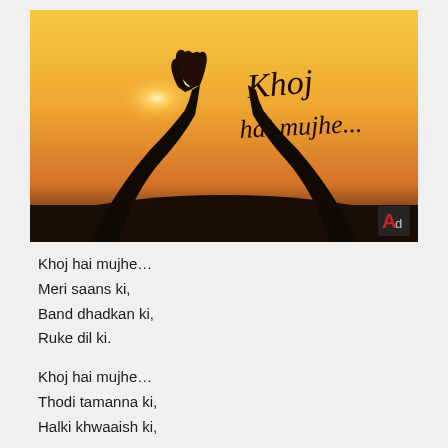[Figure (illustration): Silhouette of two hands clasped together in a prayer gesture against a warm golden sunset sky. The sun glows between the interlocked fingers. Calligraphic text reads 'Khoj hai mujhe...' in the upper right. A small red 'A' logo appears in the bottom right corner.]
Khoj hai mujhe…
Meri saans ki,
Band dhadkan ki,
Ruke dil ki.

Khoj hai mujhe…
Thodi tamanna ki,
Halki khwaaish ki,